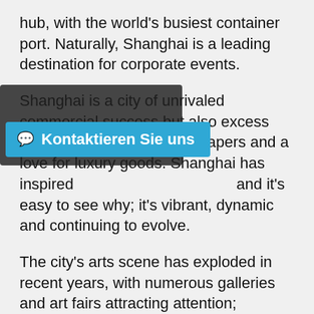hub, with the world's busiest container port. Naturally, Shanghai is a leading destination for corporate events.
Shanghai is a city of unrivaled commercial success but also excess with record-breaking skyscrapers and a love for luxury goods. Shanghai has inspired and it's easy to see why; it's vibrant, dynamic and continuing to evolve.
The city's arts scene has exploded in recent years, with numerous galleries and art fairs attracting attention; Shanghai is paving the way for new, exciting, contemporary (and sometimes controversial) art. We love working with our local artists from calligraphers to sand artists to LED light painters as well as astonishing circus-style acts including acrobats and aerialists and even a vertical fashion show! We understand that events and entertainment trends continuously evolve (a lot like